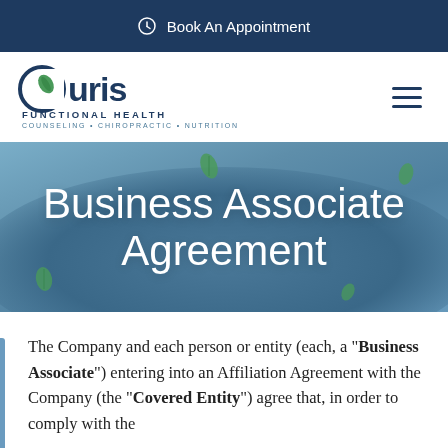Book An Appointment
[Figure (logo): Curis Functional Health logo with leaf icon. Tagline: COUNSELING • CHIROPRACTIC • NUTRITION]
Business Associate Agreement
The Company and each person or entity (each, a "Business Associate") entering into an Affiliation Agreement with the Company (the "Covered Entity") agree that, in order to comply with the